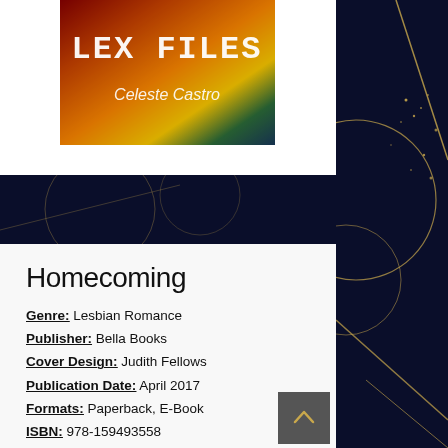[Figure (illustration): Book cover for 'Lex Files' by Celeste Castro with fiery colorful background]
Homecoming
Genre: Lesbian Romance
Publisher: Bella Books
Cover Design: Judith Fellows
Publication Date: April 2017
Formats: Paperback, E-Book
ISBN: 978-159493558
Destiny “Dusty” Del Carmen is a bestselling author and much sought-after speaker. An invitation to speak at